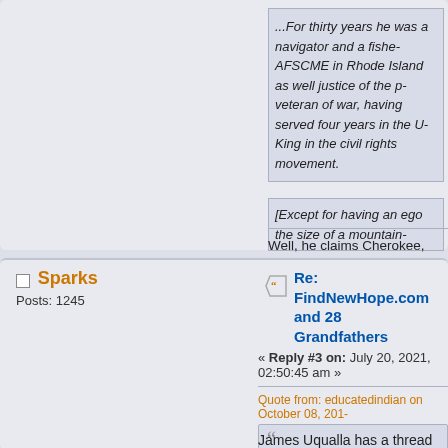...For thirty years he was a navigator and a fishe- AFSCME in Rhode Island as well justice of the p- veteran of war, having served four years in the U- King in the civil rights movement.
[Except for having an ego the size of a mountain...
Well, he claims Cherokee, raised by the N- His ndn claim seems to get around quite a-
Sparks
Posts: 1245
Re: FindNewHope.com and 28 Grandfathers
« Reply #3 on: July 20, 2021, 02:50:45 am »
Quote from: educatedindian on October 08, 201-
Grandfather James Uqualla (Havasupai) [One of our European members asked me to sta- Havasupai, but an obvious exploiter.]
James Uqualla has a thread since 2014: h- topic=4271.0